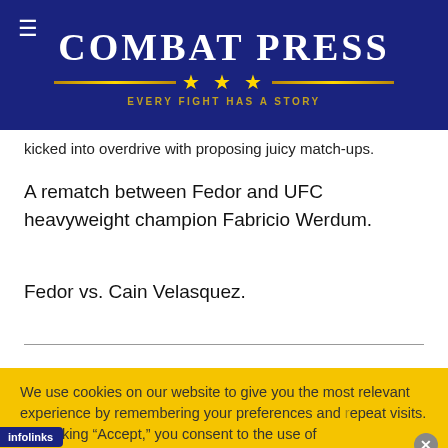COMBAT PRESS — EVERY FIGHT HAS A STORY
kicked into overdrive with proposing juicy match-ups.
A rematch between Fedor and UFC heavyweight champion Fabricio Werdum.
Fedor vs. Cain Velasquez.
We use cookies on our website to give you the most relevant experience by remembering your preferences and repeat visits. By clicking “Accept,” you consent to the use of